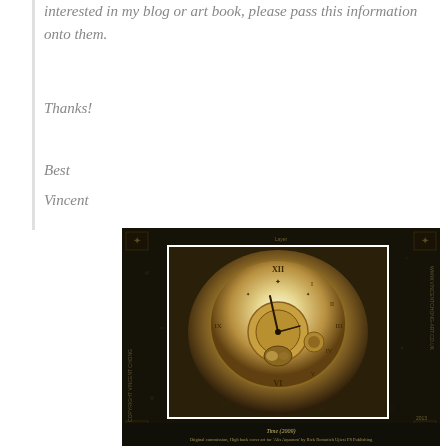interested in my blog or art book, please pass this information onto them.
Thanks!
Best
Vincent
[Figure (photo): Vintage sepia-toned photograph of an ornate antique clock face with Roman numerals, set against a dark black background with corner decorative elements. Caption reads: Time (2009) Original commission, High back cover art for 'Alis Aquarum' by Rick Romotich Ujiesi PS Publishing]
Time (2009)
Original commission, High back cover art for 'Alis Aquarum' by Rick Romotich Ujiesi PS Publishing